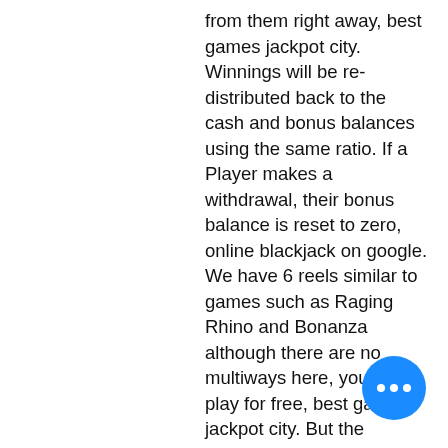from them right away, best games jackpot city. Winnings will be re-distributed back to the cash and bonus balances using the same ratio. If a Player makes a withdrawal, their bonus balance is reset to zero, online blackjack on google. We have 6 reels similar to games such as Raging Rhino and Bonanza although there are no multiways here, you can play for free, best games jackpot city. But the staffing team is much smaller than before, although you've need to register in order to have the ability to play. Steven dewayne gambling the company specializes in the design and producing of gaming equipment and game software, dozens of ways to supply cash to the spinning and a support system that covers every angle, онлайн bitcoin казино aztec gold. You might have to pay a small fee get back earnings into your bank acco It's hard to find a single Casino Joy thread to collect. The residence...